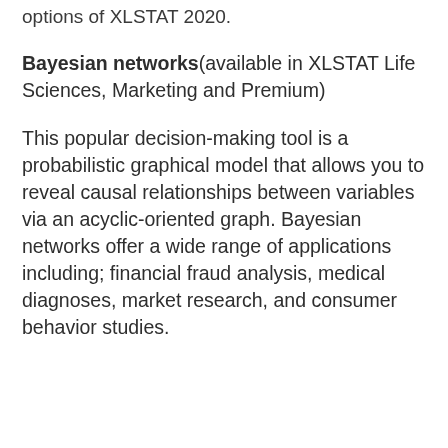options of XLSTAT 2020.
Bayesian networks(available in XLSTAT Life Sciences, Marketing and Premium)
This popular decision-making tool is a probabilistic graphical model that allows you to reveal causal relationships between variables via an acyclic-oriented graph. Bayesian networks offer a wide range of applications including; financial fraud analysis, medical diagnoses, market research, and consumer behavior studies.